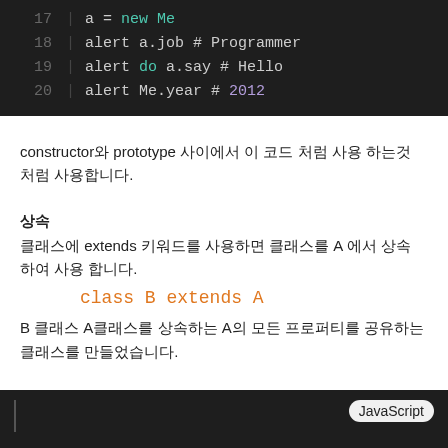[Figure (screenshot): Code snippet lines 17-20 showing CoffeeScript code: a = new Me, alert a.job # Programmer, alert do a.say # Hello, alert Me.year # 2012]
constructor와 prototype 사이에서 이 코드 처럼 사용 하는것 처럼 사용합니다.
상속
클래스에 extends 키워드를 사용하면 클래스를 A 에서 상속 하여 사용 합니다.
class B extends A
B 클래스 A클래스를 상속하는 A의 모든 프로퍼티를 공유하는 클래스를 만들었습니다.
[Figure (screenshot): Bottom code block with JavaScript badge label]